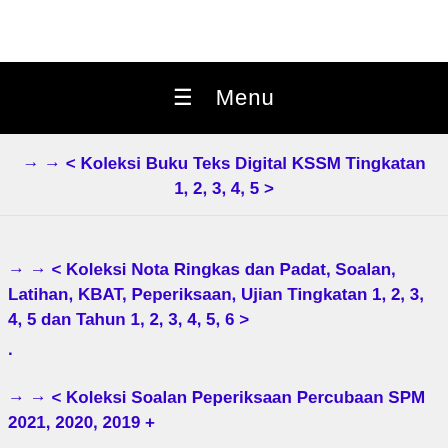≡  Menu
→ → < Koleksi Buku Teks Digital KSSM Tingkatan 1, 2, 3, 4, 5 >
→ → < Koleksi Nota Ringkas dan Padat, Soalan, Latihan, KBAT, Peperiksaan, Ujian Tingkatan 1, 2, 3, 4, 5 dan Tahun 1, 2, 3, 4, 5, 6 >
.
→ → < Koleksi Soalan Peperiksaan Percubaan SPM 2021, 2020, 2019 +